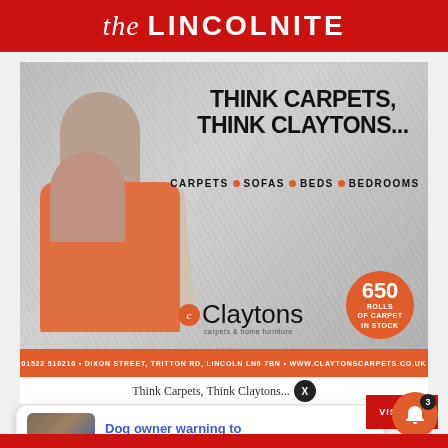the LINCOLNITE
[Figure (photo): Claytons carpets advertisement. Shows a couple lying on carpet. Headline: THINK CARPETS, THINK CLAYTONS... Subline: CARPETS • SOFAS • BEDS • BEDROOMS. Logo: Claytons carpets & home furniture. Badge: 650 ROLLS OF CARPET IN STOCK. Footer: 01522 510210 • DIXON STREET, TRITTON RD, LINCOLN LN6 7BN • WWW.CLAYTONSCARPETS.CO.UK]
Think Carpets, Think Claytons...
[Figure (photo): Dog owner warning to avoid Gainsborough woods - notification card with dog photo thumbnail]
Dog owner warning to avoid Gainsborough woods
2 hours ago
VISIT US